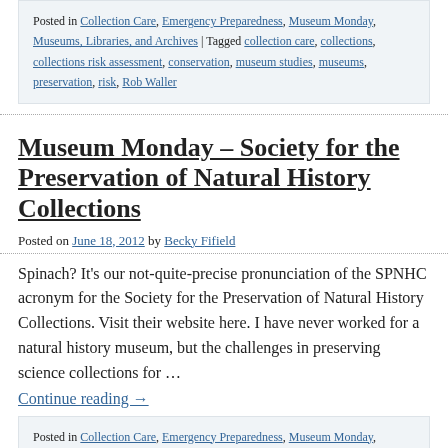Posted in Collection Care, Emergency Preparedness, Museum Monday, Museums, Libraries, and Archives | Tagged collection care, collections, collections risk assessment, conservation, museum studies, museums, preservation, risk, Rob Waller
Museum Monday – Society for the Preservation of Natural History Collections
Posted on June 18, 2012 by Becky Fifield
Spinach? It's our not-quite-precise pronunciation of the SPNHC acronym for the Society for the Preservation of Natural History Collections. Visit their website here. I have never worked for a natural history museum, but the challenges in preserving science collections for …
Continue reading →
Posted in Collection Care, Emergency Preparedness, Museum Monday, Museums, Libraries, and Archives | Tagged collection care, cultural heritage, Heritage Preservation, integrated pest management, National Park Service, New Haven, preventive conservation, Society for the Preservation of Natural History Collections, SPNHC